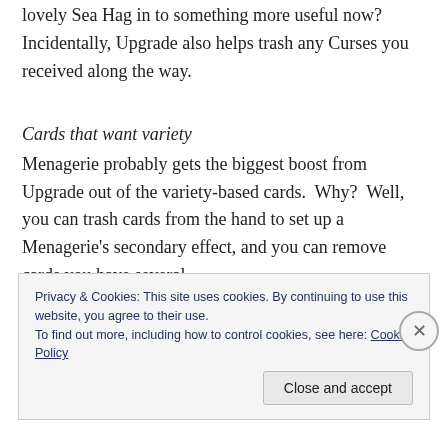lovely Sea Hag in to something more useful now? Incidentally, Upgrade also helps trash any Curses you received along the way.
Cards that want variety
Menagerie probably gets the biggest boost from Upgrade out of the variety-based cards.  Why?  Well, you can trash cards from the hand to set up a Menagerie's secondary effect, and you can remove cards you have several
Privacy & Cookies: This site uses cookies. By continuing to use this website, you agree to their use.
To find out more, including how to control cookies, see here: Cookie Policy
Close and accept